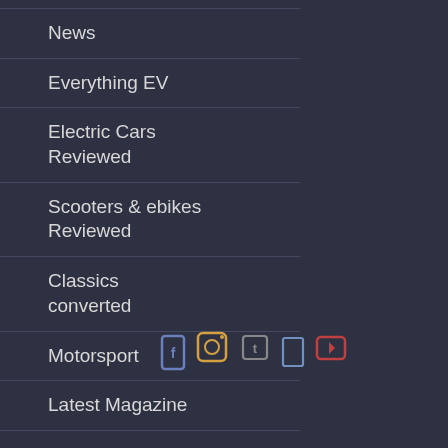News
Everything EV
Electric Cars Reviewed
Scooters & ebikes Reviewed
Classics converted
Motorsport
Latest Magazine
[Figure (other): Row of five small social media icon outlines in blue, orange, gray, blue, and red colors]